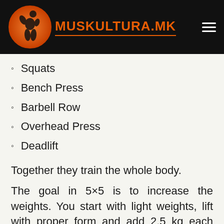[Figure (logo): Muskultura.mk logo: orange circle with a muscular figure, orange text MUSKULTURA.MK with underline, and a hamburger menu icon on black header background]
Squats
Bench Press
Barbell Row
Overhead Press
Deadlift
Together they train the whole body.
The goal in 5×5 is to increase the weights. You start with light weights, lift with proper form and add 2.5 kg each workout. This progressive increase of the weights stimulates your body to become stronger and build muscle to be able to...